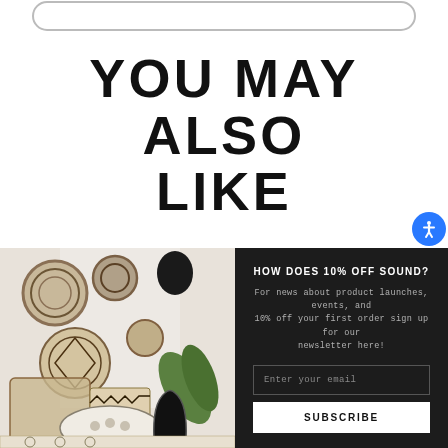[Figure (other): Top portion of a rounded button/bar at the very top of the page]
YOU MAY ALSO LIKE
[Figure (photo): Interior lifestyle photo showing a bohemian living room with woven wall art, patterned cushions, black and white decorative vases, and tropical greenery]
HOW DOES 10% OFF SOUND?
For news about product launches, events, and 10% off your first order sign up for our newsletter here!
Enter your email
SUBSCRIBE